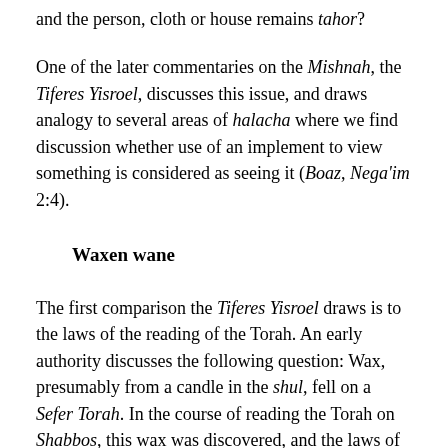and the person, cloth or house remains tahor?
One of the later commentaries on the Mishnah, the Tiferes Yisroel, discusses this issue, and draws analogy to several areas of halacha where we find discussion whether use of an implement to view something is considered as seeing it (Boaz, Nega'im 2:4).
Waxen wane
The first comparison the Tiferes Yisroel draws is to the laws of the reading of the Torah. An early authority discusses the following question: Wax, presumably from a candle in the shul, fell on a Sefer Torah. In the course of reading the Torah on Shabbos, this wax was discovered, and the laws of Shabbos prohibit scraping off the wax. Assuming that the wax is opaque enough that one can read the